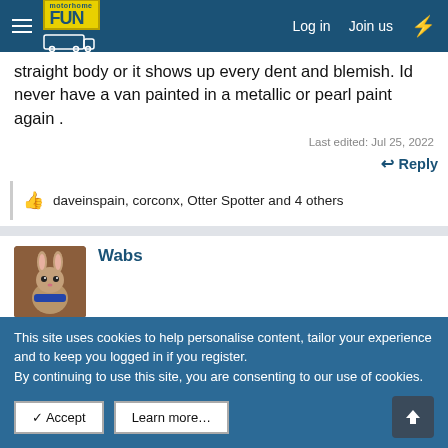Motorhome Fun | Log in | Join us
straight body or it shows up every dent and blemish. Id never have a van painted in a metallic or pearl paint again .
Last edited: Jul 25, 2022
Reply
daveinspain, corconx, Otter Spotter and 4 others
Wabs
This site uses cookies to help personalise content, tailor your experience and to keep you logged in if you register.
By continuing to use this site, you are consenting to our use of cookies.
✓ Accept
Learn more…